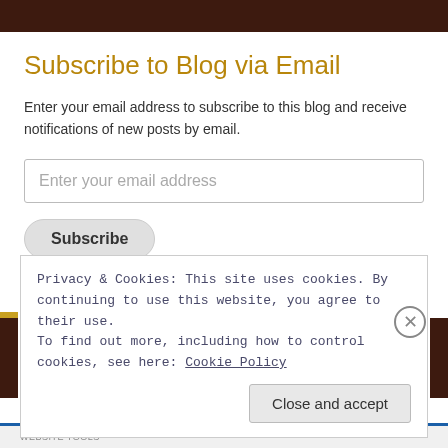Subscribe to Blog via Email
Enter your email address to subscribe to this blog and receive notifications of new posts by email.
Enter your email address
Subscribe
Join 340 other followers
Privacy & Cookies: This site uses cookies. By continuing to use this website, you agree to their use.
To find out more, including how to control cookies, see here: Cookie Policy
Close and accept